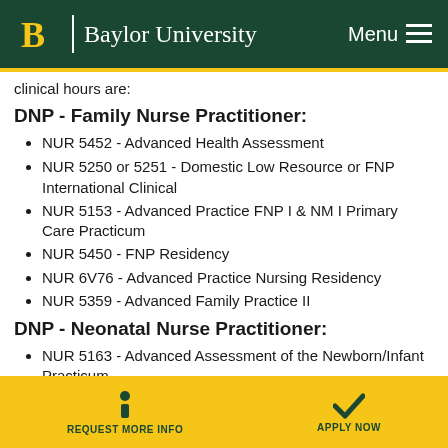Baylor University | Menu
clinical hours are:
DNP - Family Nurse Practitioner:
NUR 5452 - Advanced Health Assessment
NUR 5250 or 5251 - Domestic Low Resource or FNP International Clinical
NUR 5153 - Advanced Practice FNP I & NM I Primary Care Practicum
NUR 5450 - FNP Residency
NUR 6V76 - Advanced Practice Nursing Residency
NUR 5359 - Advanced Family Practice II
DNP - Neonatal Nurse Practitioner:
NUR 5163 - Advanced Assessment of the Newborn/Infant Practicum
REQUEST MORE INFO | APPLY NOW